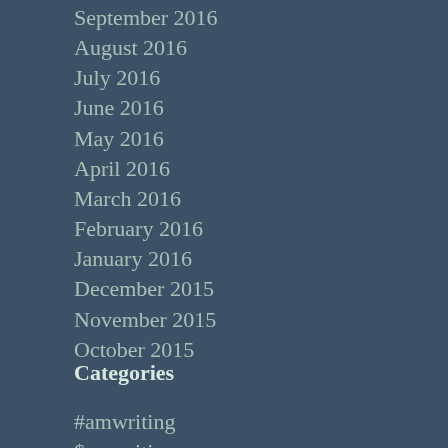September 2016
August 2016
July 2016
June 2016
May 2016
April 2016
March 2016
February 2016
January 2016
December 2015
November 2015
October 2015
Categories
#amwriting
$amwriting